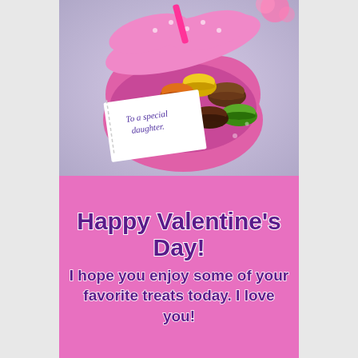[Figure (photo): A pink heart-shaped gift box filled with colorful macarons (green, orange, yellow, brown/chocolate). The lid is open and leaning back. A small white note card sits in front of the box with the handwritten text 'To a special daughter.' The background is a light lavender/grey surface. A pink flower is partially visible in the top right corner.]
Happy Valentine's Day!
I hope you enjoy some of your favorite treats today. I love you!